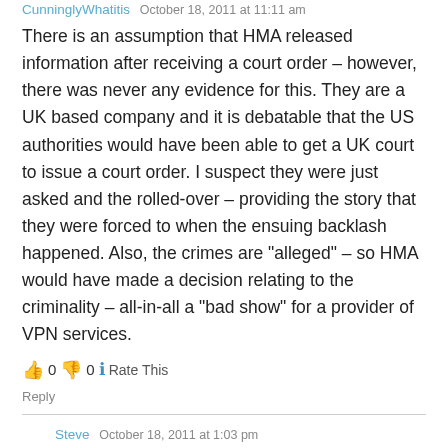CunninglyWhatitis · October 18, 2011 at 11:11 am
There is an assumption that HMA released information after receiving a court order – however, there was never any evidence for this. They are a UK based company and it is debatable that the US authorities would have been able to get a UK court to issue a court order. I suspect they were just asked and the rolled-over – providing the story that they were forced to when the ensuing backlash happened. Also, the crimes are "alleged" – so HMA would have made a decision relating to the criminality – all-in-all a "bad show" for a provider of VPN services.
👍 0 👎 0 ℹ Rate This
Reply
Steve · October 18, 2011 at 1:03 pm
That is a big assumption your making by suspecting that